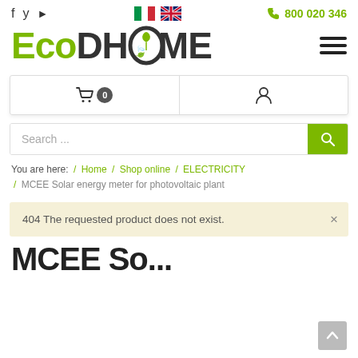[Figure (screenshot): EcoDHome website header with Italian and UK flag icons, social media icons (Facebook, Twitter, YouTube), phone number 800 020 346, EcoDHome logo, hamburger menu, shopping cart row, search bar, breadcrumb navigation, 404 error alert, and beginning of MCEE product title]
800 020 346
EcoDHOME
Search ...
You are here:  /  Home  /  Shop online  /  ELECTRICITY  /  MCEE Solar energy meter for photovoltaic plant
404 The requested product does not exist.
MCEE So...